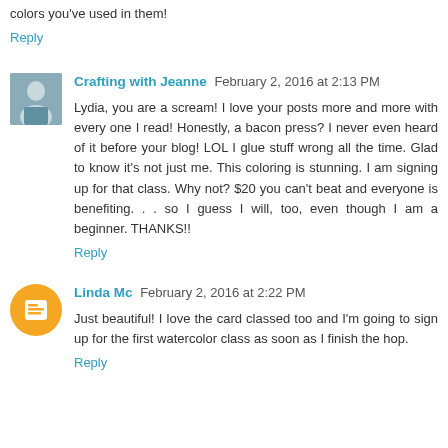colors you've used in them!
Reply
Crafting with Jeanne  February 2, 2016 at 2:13 PM
Lydia, you are a scream! I love your posts more and more with every one I read! Honestly, a bacon press? I never even heard of it before your blog! LOL I glue stuff wrong all the time. Glad to know it's not just me. This coloring is stunning. I am signing up for that class. Why not? $20 you can't beat and everyone is benefiting. . . so I guess I will, too, even though I am a beginner. THANKS!!
Reply
Linda Mc  February 2, 2016 at 2:22 PM
Just beautiful! I love the card classed too and I'm going to sign up for the first watercolor class as soon as I finish the hop.
Reply